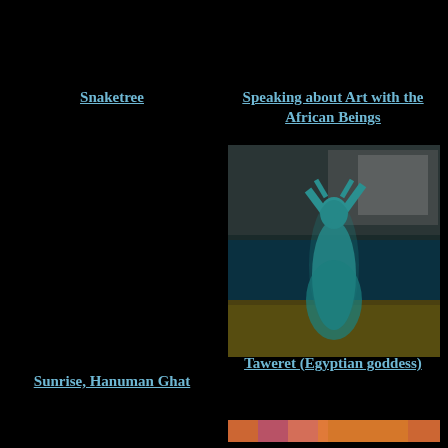Snaketree
Speaking about Art with the African Beings
[Figure (photo): Artwork depicting a teal/blue-green figure of an Egyptian goddess standing with arms raised against a textured dark and golden background]
Sunrise, Hanuman Ghat
Taweret (Egyptian goddess)
[Figure (photo): Partial view of a colorful artwork at the bottom right, showing warm orange, red and purple tones, partially cut off]